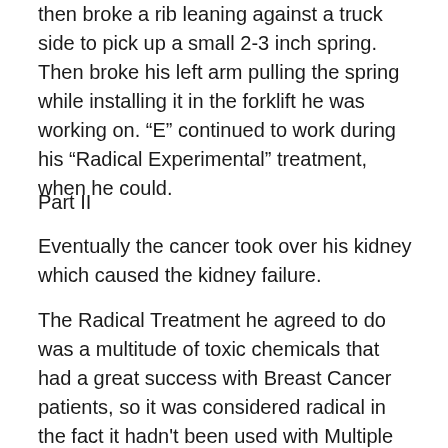then broke a rib leaning against a truck side to pick up a small 2-3 inch spring. Then broke his left arm pulling the spring while installing it in the forklift he was working on. “E” continued to work during his “Radical Experimental” treatment, when he could.
Part II
Eventually the cancer took over his kidney which caused the kidney failure.
The Radical Treatment he agreed to do was a multitude of toxic chemicals that had a great success with Breast Cancer patients, so it was considered radical in the fact it hadn't been used with Multiple Myeloma and for the huge amount they would give him. For 3 days he would be given a liter bag of Chemo Chemicals and saline. This would have to be put into a port that was placed straight